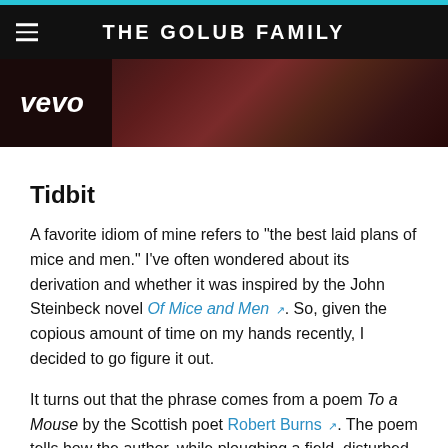THE GOLUB FAMILY
[Figure (screenshot): A dark video thumbnail with the Vevo logo on the left and a dimly lit stage/band scene on the right]
Tidbit
A favorite idiom of mine refers to "the best laid plans of mice and men." I've often wondered about its derivation and whether it was inspired by the John Steinbeck novel Of Mice and Men. So, given the copious amount of time on my hands recently, I decided to go figure it out.
It turns out that the phrase comes from a poem To a Mouse by the Scottish poet Robert Burns. The poem tells how the author, while ploughing a field, disturbed a mouse's nest. The poem is an apology to the mouse: